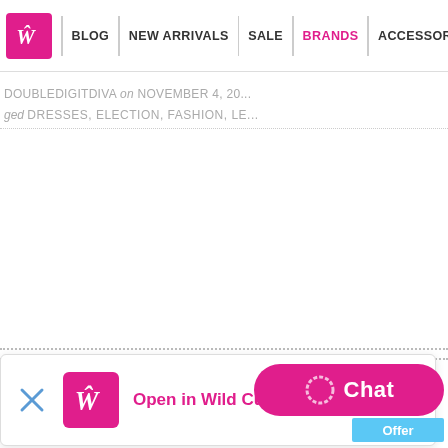BLOG | NEW ARRIVALS | SALE | BRANDS | ACCESSORIES
DOUBLEDIGITDIVA on NOVEMBER 4, 20...
ged DRESSES, ELECTION, FASHION, LE...
The Most Delicious...
Mother's Day is just a few days awa... pampered every day of the year an...
[Figure (screenshot): App install banner: Wild Curves logo with text 'Open in Wild Curves app' and a close X button]
immediately" co... fa... styles) so fast i... p...
[Figure (other): Chat button (pink rounded rectangle with chat icon and 'Chat' text) and 'Offer' tab below]